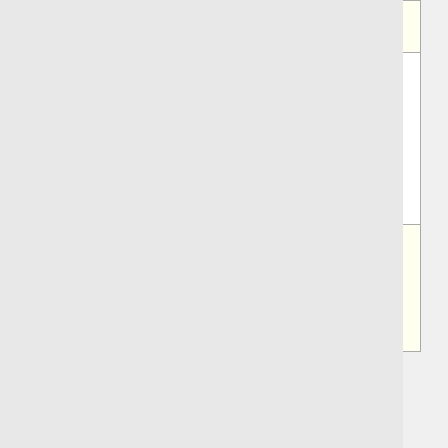| Date | Count1 | Count2 | Count3 | Links |
| --- | --- | --- | --- | --- |
|  |  |  |  | 49 Fen...
47 Tos...
46 We... |
| Apr 2018 | 17384 | 0 | 0 | 481 We...
405 TV...
271 Mi...
228 In...
221 Ju...
210 Sy...
188 To...
174 Fe...
169 Ma...
164 Ro...
161 Ma... |
| Nov 2017 | 2083 | 0 | 0 | 148 We...
48 TW...
39 Sy...
31 Tos...
30 LE...
26 Juli...
24 Ma...
21 Se... |